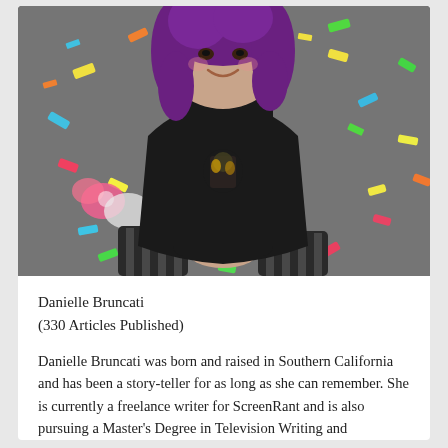[Figure (photo): Young woman with purple hair wearing a black t-shirt, sitting cross-legged on a gray carpet covered with colorful confetti/paper streamers, smiling at the camera.]
Danielle Bruncati
(330 Articles Published)
Danielle Bruncati was born and raised in Southern California and has been a story-teller for as long as she can remember. She is currently a freelance writer for ScreenRant and is also pursuing a Master's Degree in Television Writing and Producing from a